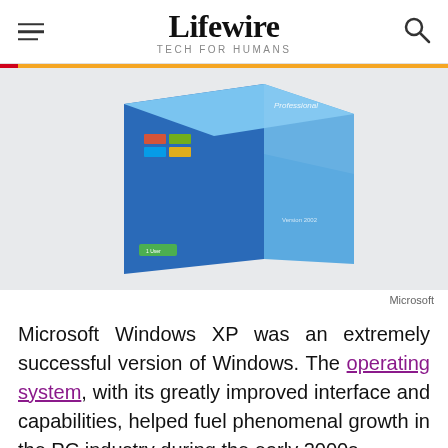Lifewire TECH FOR HUMANS
[Figure (photo): Windows XP Professional box product shot on light gray background]
Microsoft
Microsoft Windows XP was an extremely successful version of Windows. The operating system, with its greatly improved interface and capabilities, helped fuel phenomenal growth in the PC industry during the early 2000s.